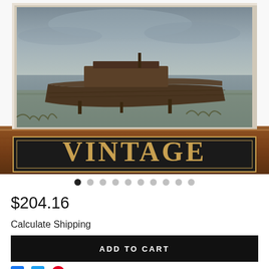[Figure (photo): Product photo showing a framed painting of an old wooden boat in a misty marsh landscape, displayed on a wooden ledge with a black decorative sign below reading 'VINTAGE' in gold serif letters.]
● ○ ○ ○ ○ ○ ○ ○ ○ ○
$204.16
Calculate Shipping
ADD TO CART
Ask a question